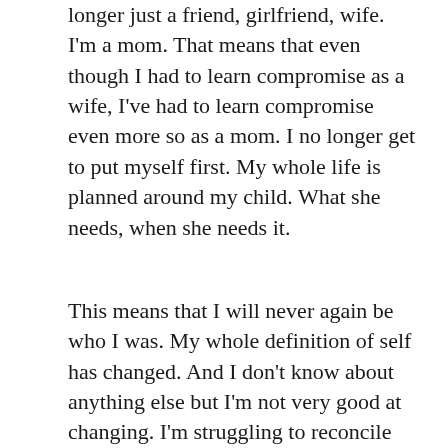longer just a friend, girlfriend, wife. I'm a mom. That means that even though I had to learn compromise as a wife, I've had to learn compromise even more so as a mom. I no longer get to put myself first. My whole life is planned around my child. What she needs, when she needs it.
This means that I will never again be who I was. My whole definition of self has changed. And I don't know about anything else but I'm not very good at changing. I'm struggling to reconcile the person I was before child to the person I am after child. So far, I'm not doing a very good job of it. I am trying to figure out how to evaluate my self-worth in a way that I can believe. It's like I have to become this new person that I don't recognize at all. In the meantime, I've been trying to become who I was prior to having a child.
A realization I finally came to (even though I've had a few friends tell me this several times) is that you don't return to